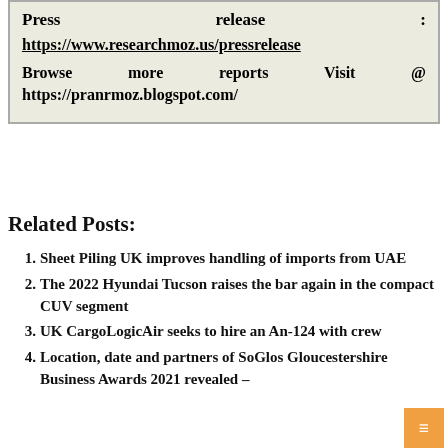Press release : https://www.researchmoz.us/pressrelease Browse more reports Visit @ https://pranrmoz.blogspot.com/
Related Posts:
1. Sheet Piling UK improves handling of imports from UAE
2. The 2022 Hyundai Tucson raises the bar again in the compact CUV segment
3. UK CargoLogicAir seeks to hire an An-124 with crew
4. Location, date and partners of SoGlos Gloucestershire Business Awards 2021 revealed –